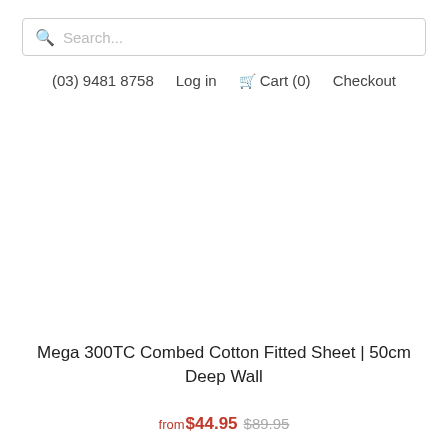Search...
(03) 9481 8758   Log in   Cart (0)   Checkout
Mega 300TC Combed Cotton Fitted Sheet | 50cm Deep Wall
from $44.95  $89.95